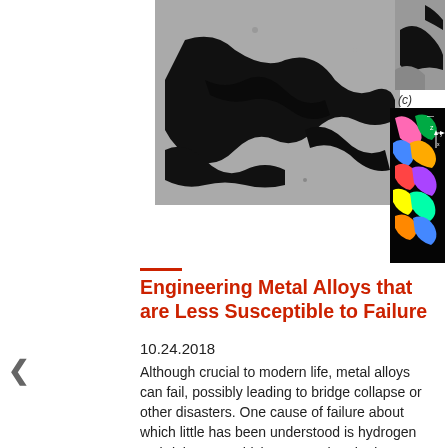[Figure (photo): Grayscale microscopy image showing a large irregular crack/fracture pattern in a metal alloy (nickel superalloy). Black regions indicate the crack propagation path against a gray metallic background.]
[Figure (photo): Grayscale cross-sectional image of metal alloy microstructure showing crack detail, top right of the figure set.]
(c)
[Figure (photo): Colorful EBSD or orientation mapping image of the nickel superalloy microstructure showing crystal grain orientations in bright colors (pink, green, blue, yellow) against a black background. Coordinate axes (z, x, y) shown at right.]
Engineering Metal Alloys that are Less Susceptible to Failure
10.24.2018
Although crucial to modern life, metal alloys can fail, possibly leading to bridge collapse or other disasters. One cause of failure about which little has been understood is hydrogen embrittlement, which occurs when hydrogen from water propagates a crack. In this work, researchers from academia and U.S. Department of Energy (DOE) national laboratories utilized the U.S. DOE's Advanced Photon Source to analyze the micro-structure of a preexisting crack in a nickel superalloy in order to determine the susceptibility